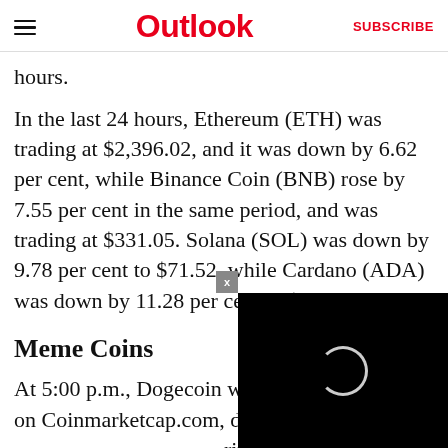Outlook  SUBSCRIBE
hours.
In the last 24 hours, Ethereum (ETH) was trading at $2,396.02, and it was down by 6.62 per cent, while Binance Coin (BNB) rose by 7.55 per cent in the same period, and was trading at $331.05. Solana (SOL) was down by 9.78 per cent to $71.52, while Cardano (ADA) was down by 11.28 per cent to $0.6638.
Meme Coins
At 5:00 p.m., Dogecoin was trading at $0.1171 on Coinmarketcap.com, dow rival, Shiba Inu, was dow was trading at $0.0000165 down by 7.23 per cent, an $0.01092, while Dogelon Mars was down b